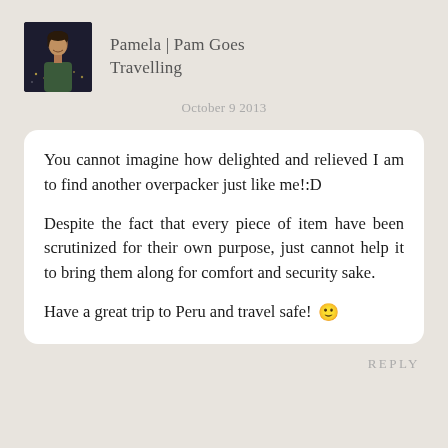[Figure (photo): Small profile photo of a woman smiling, dark background with city lights.]
Pamela | Pam Goes Travelling
October 9 2013
You cannot imagine how delighted and relieved I am to find another overpacker just like me!:D

Despite the fact that every piece of item have been scrutinized for their own purpose, just cannot help it to bring them along for comfort and security sake.

Have a great trip to Peru and travel safe! 🙂
REPLY